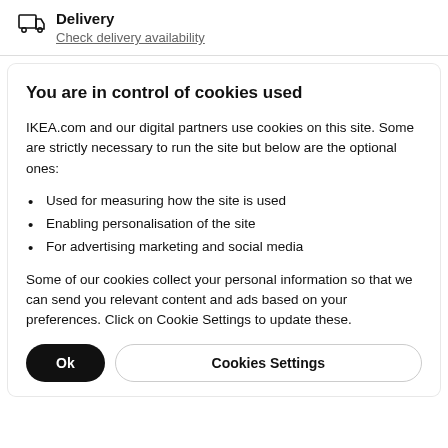Delivery
Check delivery availability
You are in control of cookies used
IKEA.com and our digital partners use cookies on this site. Some are strictly necessary to run the site but below are the optional ones:
Used for measuring how the site is used
Enabling personalisation of the site
For advertising marketing and social media
Some of our cookies collect your personal information so that we can send you relevant content and ads based on your preferences. Click on Cookie Settings to update these.
Ok | Cookies Settings